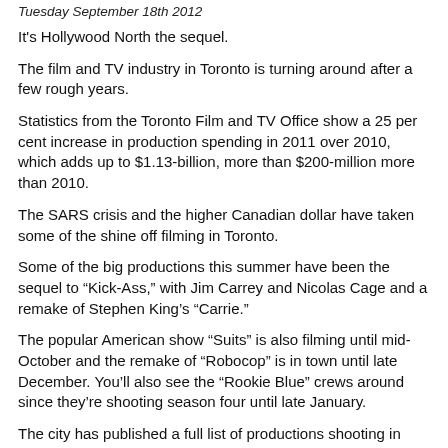Tuesday September 18th 2012
It's Hollywood North the sequel.
The film and TV industry in Toronto is turning around after a few rough years.
Statistics from the Toronto Film and TV Office show a 25 per cent increase in production spending in 2011 over 2010, which adds up to $1.13-billion, more than $200-million more than 2010.
The SARS crisis and the higher Canadian dollar have taken some of the shine off filming in Toronto.
Some of the big productions this summer have been the sequel to “Kick-Ass,” with Jim Carrey and Nicolas Cage and a remake of Stephen King’s “Carrie.”
The popular American show “Suits” is also filming until mid-October and the remake of “Robocop” is in town until late December. You’ll also see the “Rookie Blue” crews around since they’re shooting season four until late January.
The city has published a full list of productions shooting in Toronto.